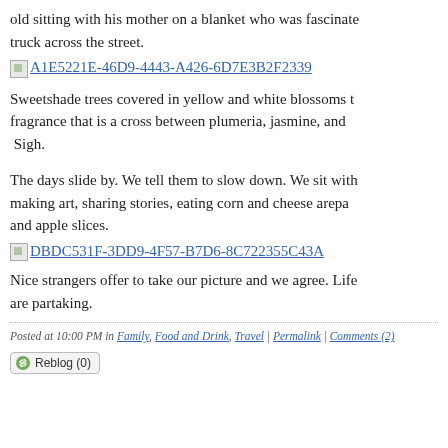old sitting with his mother on a blanket who was fascinated by a truck across the street.
[Figure (photo): Placeholder image link: A1E5221E-46D9-4443-A426-6D7E3B2F2339]
Sweetshade trees covered in yellow and white blossoms fragrance that is a cross between plumeria, jasmine, and Sigh.
The days slide by. We tell them to slow down. We sit with making art, sharing stories, eating corn and cheese arepa and apple slices.
[Figure (photo): Placeholder image link: DBDC531F-3DD9-4F57-B7D6-8C722355C43A]
Nice strangers offer to take our picture and we agree. Life are partaking.
Posted at 10:00 PM in Family, Food and Drink, Travel | Permalink | Comments (2)
Reblog (0)